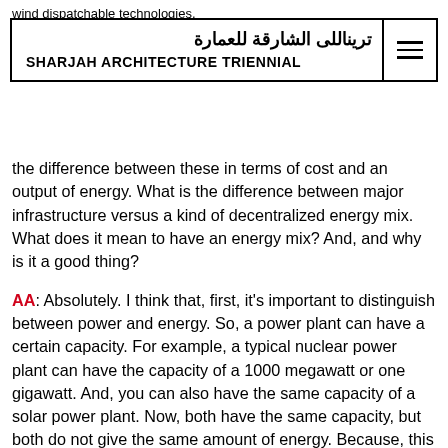wind dispatchable technologies.
تريناللى الشارقة للعمارة | SHARJAH ARCHITECTURE TRIENNIAL
the difference between these in terms of cost and an output of energy. What is the difference between major infrastructure versus a kind of decentralized energy mix. What does it mean to have an energy mix? And, and why is it a good thing?
AA: Absolutely. I think that, first, it's important to distinguish between power and energy. So, a power plant can have a certain capacity. For example, a typical nuclear power plant can have the capacity of a 1000 megawatt or one gigawatt. And, you can also have the same capacity of a solar power plant. Now, both have the same capacity, but both do not give the same amount of energy. Because, this capacity (the 1000 megawatt) in the case of nuclear is produced around the clock—so, at any moment, if you tap into this nuclear power reactor to take electricity out of it, it gives you fixed 1000 megawatt. On the other hand, when it comes to solar or wind or other intermittent renewable energy power plants, sometimes, when there is no wind, it gives you a zero. And, other times, it gives you 30% of